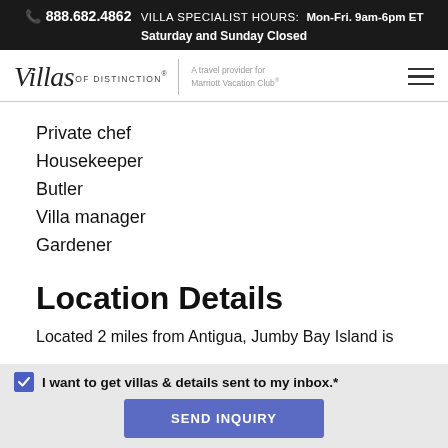📞 888.682.4862  VILLA SPECIALIST HOURS:  Mon-Fri. 9am-6pm ET  Saturday and Sunday Closed
[Figure (logo): Villas of Distinction logo with italic script 'Villas of DISTINCTION' text, vertical divider, and 'A travel provider for Marriott Vacation Club®' tagline, plus hamburger menu icon]
Private chef
Housekeeper
Butler
Villa manager
Gardener
Location Details
Located 2 miles from Antigua, Jumby Bay Island is
☑ I want to get villas & details sent to my inbox.*
SEND INQUIRY